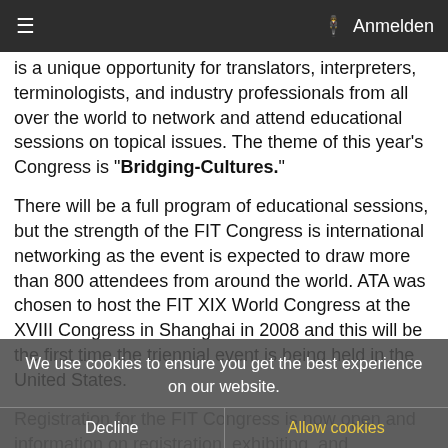≡  Anmelden
is a unique opportunity for translators, interpreters, terminologists, and industry professionals from all over the world to network and attend educational sessions on topical issues. The theme of this year's Congress is "Bridging-Cultures."
There will be a full program of educational sessions, but the strength of the FIT Congress is international networking as the event is expected to draw more than 800 attendees from around the world. ATA was chosen to host the FIT XIX World Congress at the XVIII Congress in Shanghai in 2008 and this will be the first time the triennial event is being held in the United States.
Registration for the FIT Congress is now open and information on registration, exhibiting, and sponsorships can be found at www dot fit2011 dot org.
The International Federation of Translators was founded in Paris in 1953 and is an international federation of national associations representing translators, interpreters, and terminologists with
We use cookies to ensure you get the best experience on our website.
Decline   Allow cookies